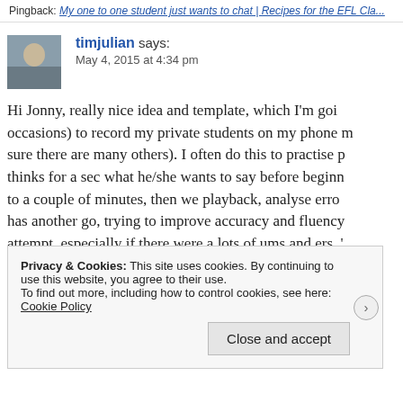Pingback: My one to one student just wants to chat | Recipes for the EFL Cla...
timjulian says: May 4, 2015 at 4:34 pm
Hi Jonny, really nice idea and template, which I'm goi... occasions) to record my private students on my phone m... sure there are many others). I often do this to practise p... thinks for a sec what he/she wants to say before beginn... to a couple of minutes, then we playback, analyse erro... has another go, trying to improve accuracy and fluency... attempt, especially if there were a lots of ums and ers, '... say the same thing in less than two minutes. They find
Privacy & Cookies: This site uses cookies. By continuing to use this website, you agree to their use.
To find out more, including how to control cookies, see here: Cookie Policy
Close and accept